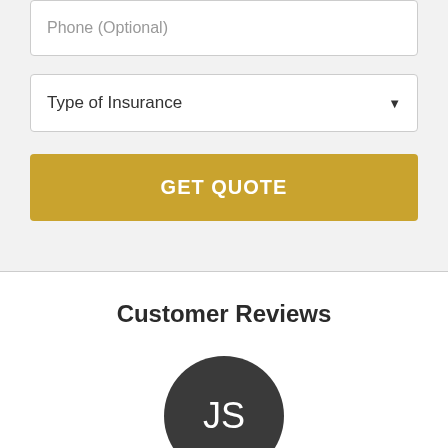Phone (Optional)
Type of Insurance
GET QUOTE
Customer Reviews
[Figure (illustration): Dark gray circular avatar with white initials 'JS']